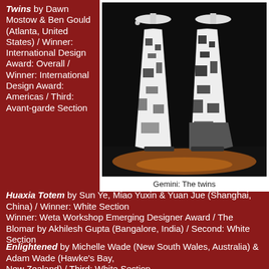Twins by Dawn Mostow & Ben Gould (Atlanta, United States) / Winner: International Design Award: Overall / Winner: International Design Award: Americas / Third: Avant-garde Section
[Figure (photo): Two performers on stage wearing elaborate black and white patterned gowns with large wide-brimmed hats, photographed against a dark background with amber lighting on the floor.]
Gemini: The twins
Huaxia Totem by Sun Ye, Miao Yuxin & Yuan Jue (Shanghai, China) / Winner: White Section Winner: Weta Workshop Emerging Designer Award / The Blomar by Akhilesh Gupta (Bangalore, India) / Second: White Section
Enlightened by Michelle Wade (New South Wales, Australia) & Adam Wade (Hawke's Bay, New Zealand) / Third: White Section